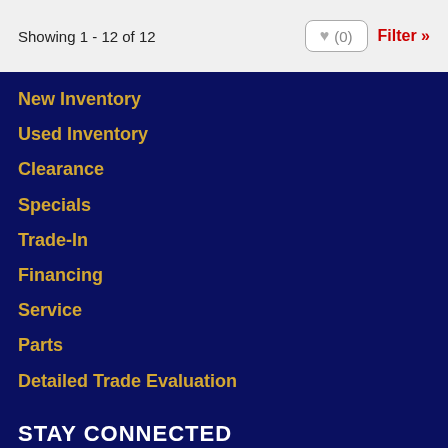Showing 1 - 12 of 12
New Inventory
Used Inventory
Clearance
Specials
Trade-In
Financing
Service
Parts
Detailed Trade Evaluation
STAY CONNECTED
[Figure (infographic): Social media icons: Facebook, Twitter, YouTube, Instagram, Pinterest]